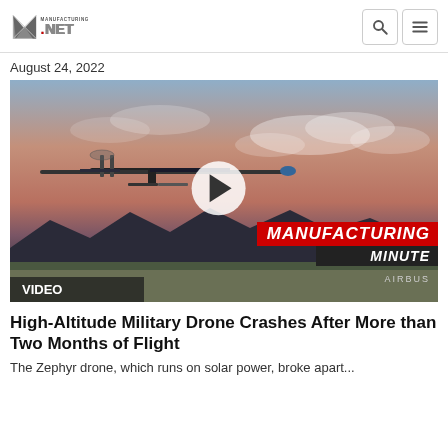Manufacturing.NET logo with search and menu icons
August 24, 2022
[Figure (screenshot): Video thumbnail showing a high-altitude drone (Airbus Zephyr) in flight against a sunset sky, with a play button overlay and 'MANUFACTURING MINUTE' banner overlay, and 'VIDEO' label at bottom left. 'AIRBUS' credit shown.]
High-Altitude Military Drone Crashes After More than Two Months of Flight
The Zephyr drone, which runs on solar power, broke apart...